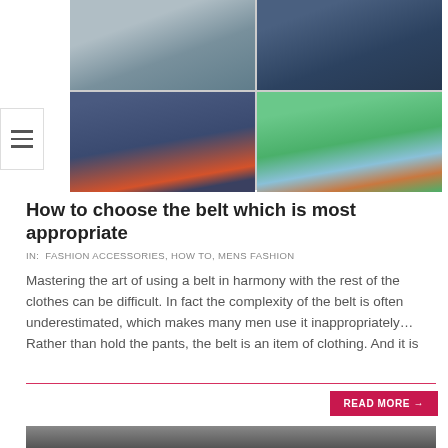[Figure (photo): Collage of four fashion photos showing men's belts and pants styles: grey trousers, brown belt on navy pants, jeans with orange knit tie, and green pants with brown belt and watch.]
How to choose the belt which is most appropriate
IN:  FASHION ACCESSORIES, HOW TO, MENS FASHION
Mastering the art of using a belt in harmony with the rest of the clothes can be difficult. In fact the complexity of the belt is often underestimated, which makes many men use it inappropriately… Rather than hold the pants, the belt is an item of clothing. And it is
[Figure (photo): Partial bottom image strip showing a man's face/chin area, dark background.]